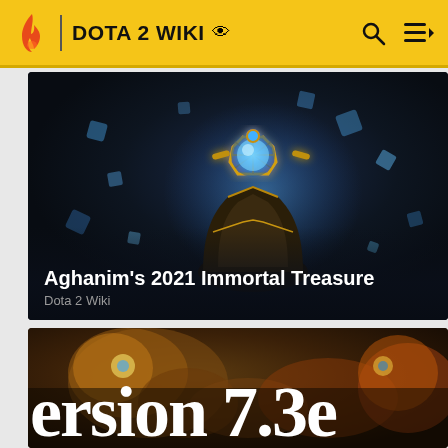DOTA 2 WIKI
[Figure (screenshot): Aghanim's 2021 Immortal Treasure item art — a glowing blue orb with gold mechanical casing surrounded by floating blue squares, dark background]
Aghanim's 2021 Immortal Treasure
Dota 2 Wiki
[Figure (screenshot): Partially visible card showing a fantasy creature (orange/yellow animal) with large overlaid white text reading 'ersion 7.3...' — partial title of a Dota 2 patch article]